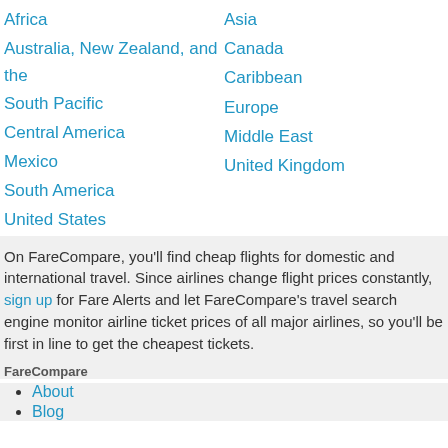Africa
Asia
Australia, New Zealand, and the South Pacific
Canada
Caribbean
Central America
Europe
Mexico
Middle East
South America
United Kingdom
United States
On FareCompare, you’ll find cheap flights for domestic and international travel. Since airlines change flight prices constantly, sign up for Fare Alerts and let FareCompare’s travel search engine monitor airline ticket prices of all major airlines, so you’ll be first in line to get the cheapest tickets.
FareCompare
About
Blog